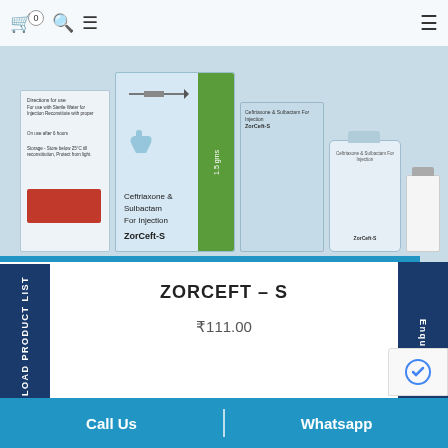[Figure (photo): Product photo of ZorCeft-S (Ceftriaxone & Sulbactam For Injection) medicine boxes, vials, and bottles on a light blue background]
ZORCEFT – S
₹111.00
Call Us | Whatsapp